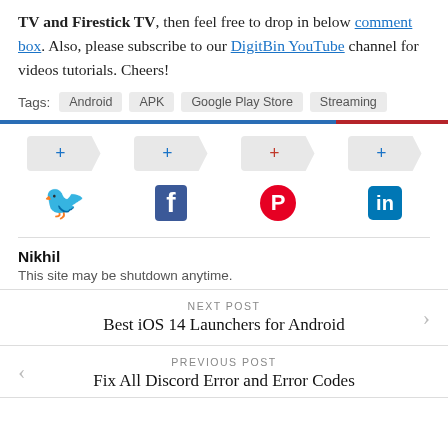TV and Firestick TV, then feel free to drop in below comment box. Also, please subscribe to our DigitBin YouTube channel for videos tutorials. Cheers!
Tags: Android APK Google Play Store Streaming
[Figure (infographic): Four share/plus buttons in arrow shapes followed by social media icons: Twitter, Facebook, Pinterest, LinkedIn]
Nikhil
This site may be shutdown anytime.
NEXT POST
Best iOS 14 Launchers for Android
PREVIOUS POST
Fix All Discord Error and Error Codes